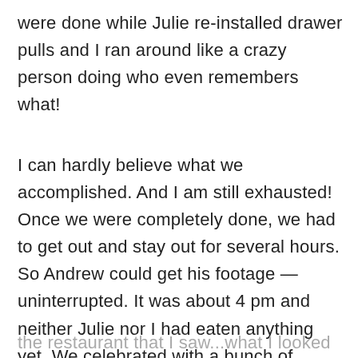were done while Julie re-installed drawer pulls and I ran around like a crazy person doing who even remembers what!
I can hardly believe what we accomplished. And I am still exhausted! Once we were completely done, we had to get out and stay out for several hours. So Andrew could get his footage — uninterrupted. It was about 4 pm and neither Julie nor I had eaten anything yet. We celebrated with a bunch of comfort food and a couple martinis each. (Not Penny as she was driving.) It wasn't until we left
the restaurant that I saw...what I looked like. (FYI –